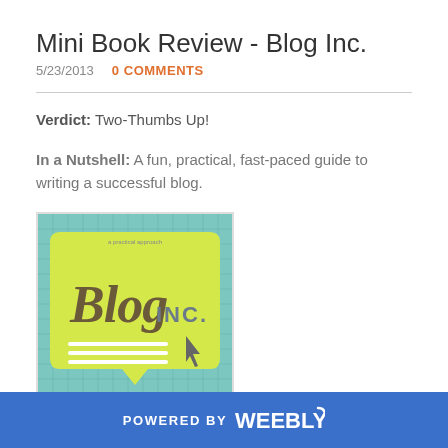Mini Book Review - Blog Inc.
5/23/2013   0 COMMENTS
Verdict: Two-Thumbs Up!
In a Nutshell: A fun, practical, fast-paced guide to writing a successful blog.
[Figure (photo): Book cover of Blog Inc. showing a yellow speech bubble with 'Blog INC.' text and a cursor arrow on a teal grid background]
POWERED BY weebly